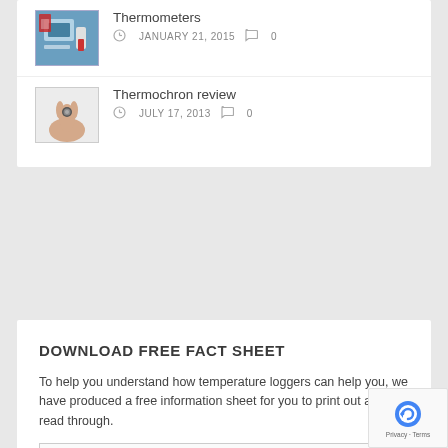[Figure (photo): Thumbnail image with blue background, partially visible at top]
Thermometers
JANUARY 21, 2015   0
[Figure (photo): Thumbnail image of a hand holding a small Thermochron device]
Thermochron review
JULY 17, 2013   0
DOWNLOAD FREE FACT SHEET
To help you understand how temperature loggers can help you, we have produced a free information sheet for you to print out and read through.
Name
Email